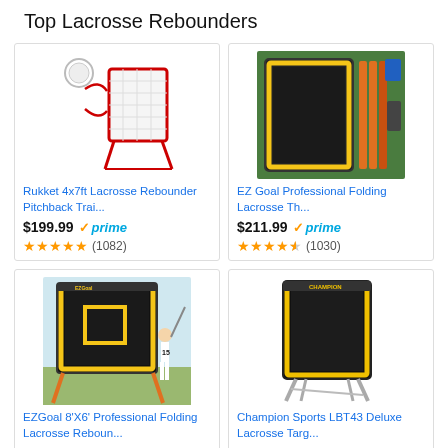Top Lacrosse Rebounders
[Figure (photo): Rukket 4x7ft lacrosse rebounder pitchback trainer product photo]
Rukket 4x7ft Lacrosse Rebounder Pitchback Trai...
$199.99 ✓prime
★★★★★ (1082)
[Figure (photo): EZ Goal Professional Folding Lacrosse Thrower product photo]
EZ Goal Professional Folding Lacrosse Th...
$211.99 ✓prime
★★★★☆ (1030)
[Figure (photo): EZGoal 8X6 Professional Folding Lacrosse Rebounder product photo]
EZGoal 8'X6' Professional Folding Lacrosse Reboun...
[Figure (photo): Champion Sports LBT43 Deluxe Lacrosse Target product photo]
Champion Sports LBT43 Deluxe Lacrosse Targ...